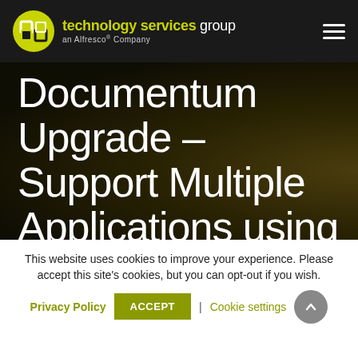technology services group — an Alfresco® Company
Documentum Upgrade – Support Multiple Applications using
This website uses cookies to improve your experience. Please accept this site's cookies, but you can opt-out if you wish.
Privacy Policy | ACCEPT | Cookie settings